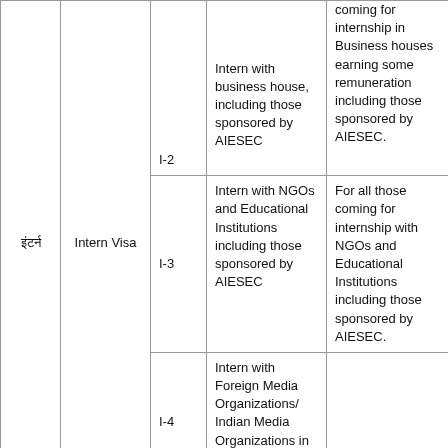|  | Intern Visa | Sub-type | Category | Remarks |
| --- | --- | --- | --- | --- |
|  | Intern Visa | I-2 | Intern with business house, including those sponsored by AIESEC | coming for internship in Business houses earning some remuneration including those sponsored by AIESEC. |
|  | Intern Visa | I-3 | Intern with NGOs and Educational Institutions including those sponsored by AIESEC | For all those coming for internship with NGOs and Educational Institutions including those sponsored by AIESEC. |
|  | Intern Visa | I-4 | Intern with Foreign Media Organizations/ Indian Media Organizations in India |  |